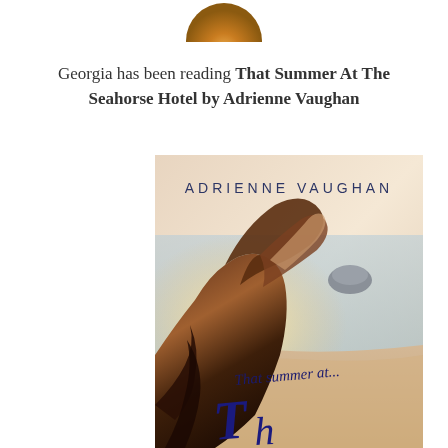[Figure (illustration): Partial circular avatar/medal at top center, amber/golden colored]
Georgia has been reading That Summer At The Seahorse Hotel by Adrienne Vaughan
[Figure (photo): Book cover of 'That Summer At The Seahorse Hotel' by Adrienne Vaughan. Shows a woman with long dark curly hair seen from behind on a beach, with sunlight and rocky coastline. Author name 'ADRIENNE VAUGHAN' in large spaced dark blue letters at top. Handwritten script 'That summer at...' with large stylized cursive script at bottom partially visible.]